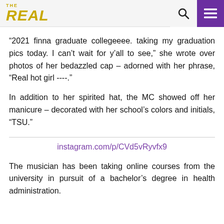THE REAL
“2021 finna graduate collegeeee. taking my graduation pics today. I can’t wait for y’all to see,” she wrote over photos of her bedazzled cap – adorned with her phrase, “Real hot girl ----.”
In addition to her spirited hat, the MC showed off her manicure – decorated with her school’s colors and initials, “TSU.”
instagram.com/p/CVd5vRyvfx9
The musician has been taking online courses from the university in pursuit of a bachelor’s degree in health administration.